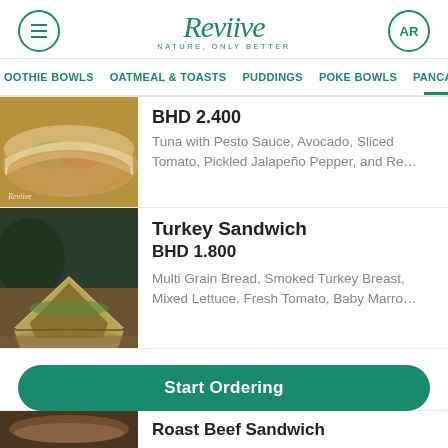Reviive — NATURE, ONLY BETTER
SMOOTHIE BOWLS | OATMEAL & TOASTS | PUDDINGS | POKE BOWLS | PANCAKES
[Figure (photo): Tuna sandwich on a wooden board with tomatoes]
BHD 2.400
Tuna with Pesto Sauce, Avocado, Sliced Tomato, Pickled Jalapeño Pepper, and Re…
[Figure (photo): Turkey sandwich cut in half on a wooden board with greens]
Turkey Sandwich
BHD 1.800
Multi Grain Bread, Smoked Turkey Breast, Mixed Lettuce, Fresh Tomato, Baby Marro…
Start Ordering
Roast Beef Sandwich